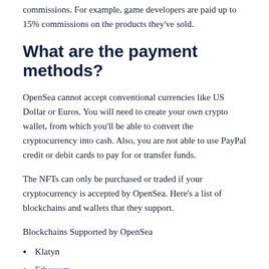commissions. For example, game developers are paid up to 15% commissions on the products they've sold.
What are the payment methods?
OpenSea cannot accept conventional currencies like US Dollar or Euros. You will need to create your own crypto wallet, from which you'll be able to convert the cryptocurrency into cash. Also, you are not able to use PayPal credit or debit cards to pay for or transfer funds.
The NFTs can only be purchased or traded if your cryptocurrency is accepted by OpenSea. Here's a list of blockchains and wallets that they support.
Blockchains Supported by OpenSea
Klatyn
Ethereum